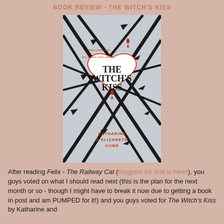Book Review - The Witch's Kiss
[Figure (photo): Book cover of 'The Witch's Kiss' by Katharine & Elizabeth Corr. The cover features dark thorny branches forming a heart shape on a light background. Text on cover reads: 'Some fairy tales are darker than others...' in red, 'THE WITCH'S KISS' in large black serif font, and 'KATHARINE & ELIZABETH CORR' at the bottom in red text.]
After reading Felix - The Railway Cat (blogpost for that is here!), you guys voted on what I should read next (this is the plan for the next month or so - though I might have to break it now due to getting a book in post and am PUMPED for it!) and you guys voted for The Witch's Kiss by Katharine and